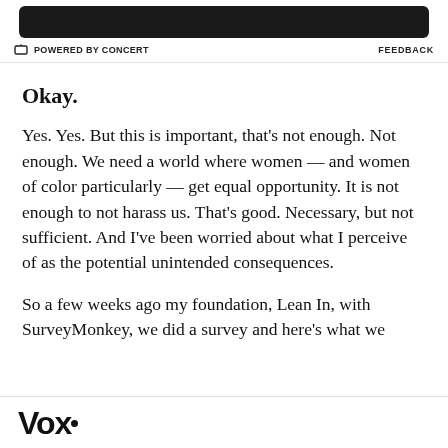[Figure (other): Dark advertisement banner bar at top of page]
POWERED BY CONCERT    FEEDBACK
Okay.
Yes. Yes. But this is important, that's not enough. Not enough. We need a world where women — and women of color particularly — get equal opportunity. It is not enough to not harass us. That's good. Necessary, but not sufficient. And I've been worried about what I perceive of as the potential unintended consequences.
So a few weeks ago my foundation, Lean In, with SurveyMonkey, we did a survey and here's what we
Vox